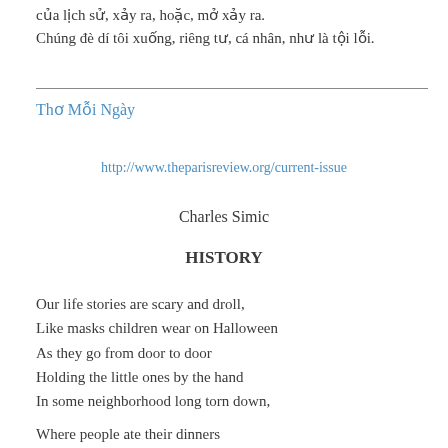của lịch sử, xảy ra, hoặc, mở xảy ra.
Chúng đè dí tôi xuống, riêng tư, cá nhân, như là tội lỗi.
Thơ Mỗi Ngày
http://www.theparisreview.org/current-issue
Charles Simic
HISTORY
Our life stories are scary and droll,
Like masks children wear on Halloween
As they go from door to door
Holding the little ones by the hand
In some neighborhood long torn down,

Where people ate their dinners